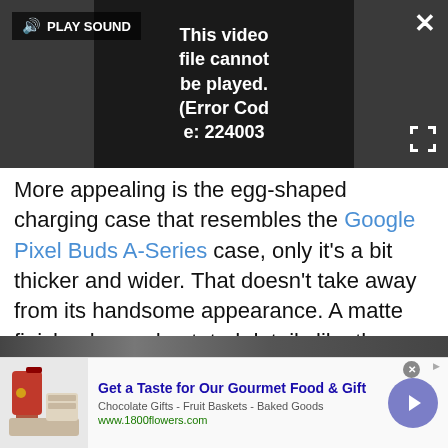[Figure (screenshot): Video player showing error: 'This video file cannot be played. (Error Code: 224003)' with PLAY SOUND button and close/fullscreen icons]
More appealing is the egg-shaped charging case that resembles the Google Pixel Buds A-Series case, only it's a bit thicker and wider. That doesn't take away from its handsome appearance. A matte finish, plus understated details like the flush pairing button on the right and tiny LED on the front, add to its appeal. You can slide the case into denim pockets and not worry about an unflattering bulge. It also feels premium and sturdy.
[Figure (screenshot): Advertisement: '1800flowers.com – Get a Taste for Our Gourmet Food & Gift. Chocolate Gifts - Fruit Baskets - Baked Goods. www.1800flowers.com']